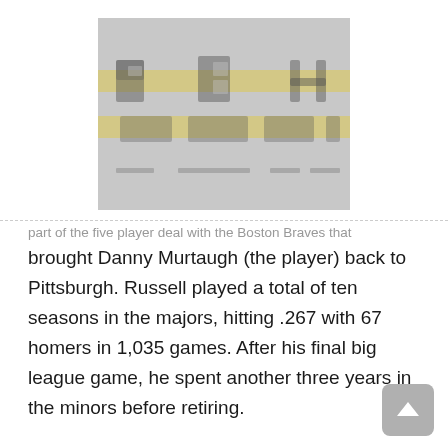[Figure (logo): Pittsburgh Pirates (PBH) logo on grey background with yellow/gold horizontal bands]
part of the five player deal with the Boston Braves that brought Danny Murtaugh (the player) back to Pittsburgh. Russell played a total of ten seasons in the majors, hitting .267 with 67 homers in 1,035 games. After his final big league game, he spent another three years in the minors before retiring.
Carmen Hill, pitcher for the Pirates for parts of eight years from 1915 until 1929. In his first five seasons with the